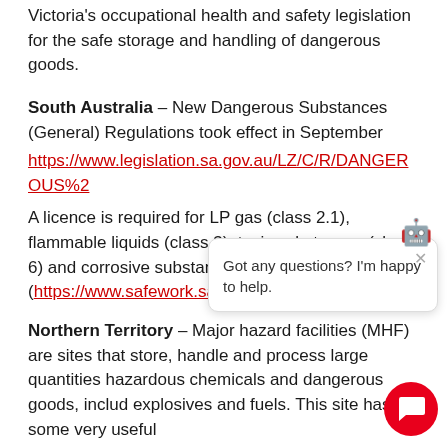Victoria's occupational health and safety legislation for the safe storage and handling of dangerous goods.
South Australia – New Dangerous Substances (General) Regulations took effect in September
https://www.legislation.sa.gov.au/LZ/C/R/DANGEROUS%2
A licence is required for LP gas (class 2.1), flammable liquids (class 3), toxic substances (class 6) and corrosive substances (Class 8) whe (https://www.safework.sa...
Northern Territory – Major hazard facilities (MHF) are sites that store, handle and process large quantities hazardous chemicals and dangerous goods, includ explosives and fuels. This site has some very useful